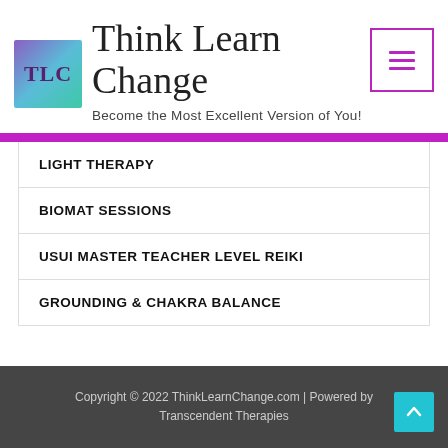[Figure (logo): TLC logo with purple-teal gradient background and 'TLC' text]
Think Learn Change
Become the Most Excellent Version of You!
LIGHT THERAPY
BIOMAT SESSIONS
USUI MASTER TEACHER LEVEL REIKI
GROUNDING & CHAKRA BALANCE
Copyright © 2022 ThinkLearnChange.com | Powered by Transcendent Therapies